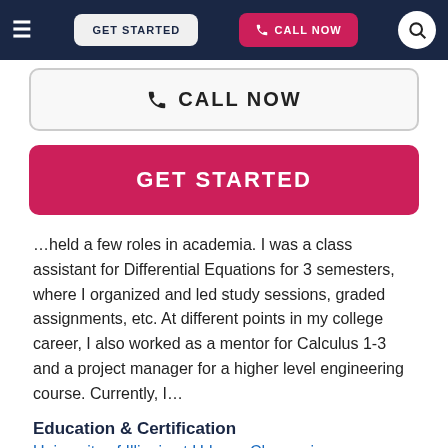≡  GET STARTED  📞 CALL NOW  🔍
[Figure (screenshot): Outline 'CALL NOW' button with phone icon]
[Figure (screenshot): Filled pink 'GET STARTED' button]
…held a few roles in academia. I was a class assistant for Differential Equations for 3 semesters, where I organized and led study sessions, graded assignments, etc. At different points in my college career, I also worked as a mentor for Calculus 1-3 and a project manager for a higher level engineering course. Currently, I…
Education & Certification
University of Illinois at Urbana-Champaign